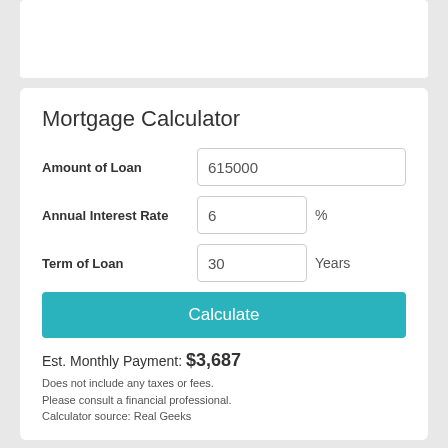Mortgage Calculator
Amount of Loan: 615000
Annual Interest Rate: 6 %
Term of Loan: 30 Years
Calculate
Est. Monthly Payment: $3,687
Does not include any taxes or fees.
Please consult a financial professional.
Calculator source: Real Geeks